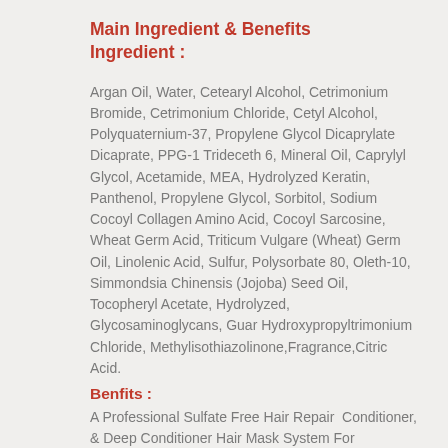Main Ingredient & Benefits Ingredient :
Argan Oil, Water, Cetearyl Alcohol, Cetrimonium Bromide, Cetrimonium Chloride, Cetyl Alcohol, Polyquaternium-37, Propylene Glycol Dicaprylate Dicaprate, PPG-1 Trideceth 6, Mineral Oil, Caprylyl Glycol, Acetamide, MEA, Hydrolyzed Keratin, Panthenol, Propylene Glycol, Sorbitol, Sodium Cocoyl Collagen Amino Acid, Cocoyl Sarcosine, Wheat Germ Acid, Triticum Vulgare (Wheat) Germ Oil, Linolenic Acid, Sulfur, Polysorbate 80, Oleth-10, Simmondsia Chinensis (Jojoba) Seed Oil, Tocopheryl Acetate, Hydrolyzed, Glycosaminoglycans, Guar Hydroxypropyltrimonium Chloride, Methylisothiazolinone,Fragrance,Citric Acid.
Benfits :
A Professional Sulfate Free Hair Repair  Conditioner, & Deep Conditioner Hair Mask System For